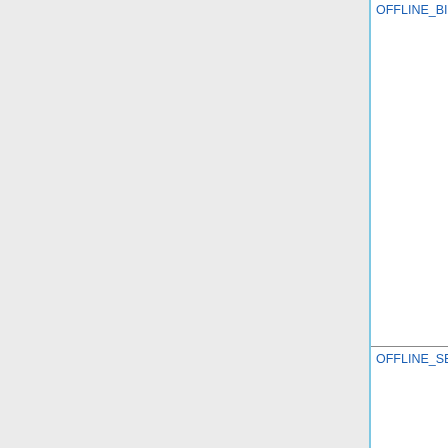| Name | Default | Description |
| --- | --- | --- |
| OFFLINE_BIOVOC | Default | Offline biogenic VOC emissions generated by GEOS-Chem 12.02 and:
• GEOS-FP meteorology (0.25° resolution, 2014-present)
• MERRA-2 meteorology (0.5° resolution, 1980-present) |
| OFFLINE_SEASALT | Default | Offline sea salt emissions generated by:
• GEOS-FP meteorology (0.25° resolution, 2014-present) |